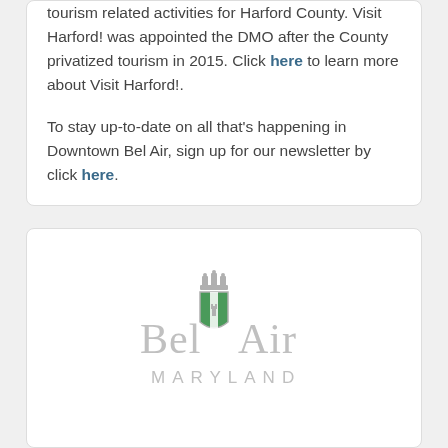tourism related activities for Harford County. Visit Harford! was appointed the DMO after the County privatized tourism in 2015. Click here to learn more about Visit Harford!.
To stay up-to-date on all that's happening in Downtown Bel Air, sign up for our newsletter by click here.
[Figure (logo): Bel Air Maryland town logo — stylized text 'Bel Air' with a green and white heraldic shield crest and crown, below the text 'MARYLAND' in spaced caps. Rendered in light grey tones.]